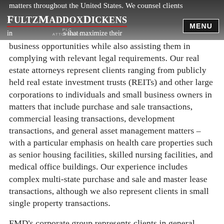matters throughout the United States. We counsel clients in [strategies] that maximize their business opportunities while also assisting them in [header area] | FultzMaddoxDickens PLC ATTORNEYS | MENU
complying with relevant legal requirements. Our real estate attorneys represent clients ranging from publicly held real estate investment trusts (REITs) and other large corporations to individuals and small business owners in matters that include purchase and sale transactions, commercial leasing transactions, development transactions, and general asset management matters – with a particular emphasis on health care properties such as senior housing facilities, skilled nursing facilities, and medical office buildings. Our experience includes complex multi-state purchase and sale and master lease transactions, although we also represent clients in small single property transactions.
FMD's corporate group represents clients in general corporate matters, including entity formation and the